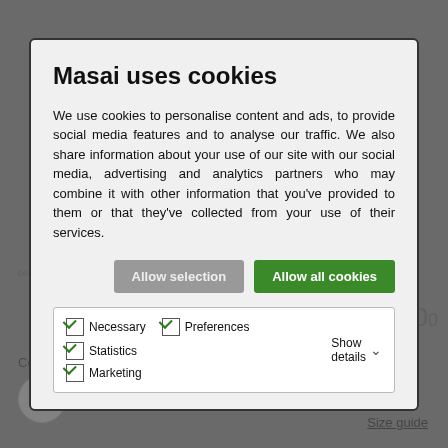beautiful design doesn't have to be complicated.
Masai Laser Dress
149.00
Colour: Desert sage
Size guide
Masai uses cookies
We use cookies to personalise content and ads, to provide social media features and to analyse our traffic. We also share information about your use of our site with our social media, advertising and analytics partners who may combine it with other information that you've provided to them or that they've collected from your use of their services.
Allow selection
Allow all cookies
Necessary  Preferences  Statistics  Show details  Marketing